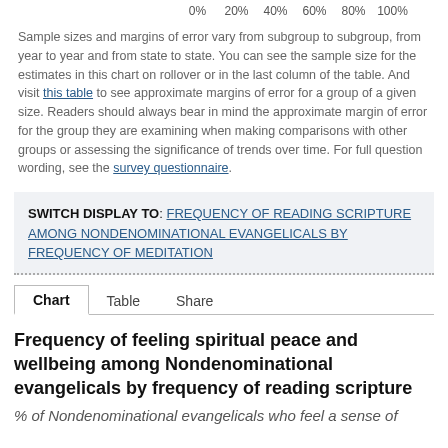[Figure (other): Partial horizontal bar chart x-axis labels: 0%, 20%, 40%, 60%, 80%, 100%]
Sample sizes and margins of error vary from subgroup to subgroup, from year to year and from state to state. You can see the sample size for the estimates in this chart on rollover or in the last column of the table. And visit this table to see approximate margins of error for a group of a given size. Readers should always bear in mind the approximate margin of error for the group they are examining when making comparisons with other groups or assessing the significance of trends over time. For full question wording, see the survey questionnaire.
SWITCH DISPLAY TO: FREQUENCY OF READING SCRIPTURE AMONG NONDENOMINATIONAL EVANGELICALS BY FREQUENCY OF MEDITATION
Chart	Table	Share
Frequency of feeling spiritual peace and wellbeing among Nondenominational evangelicals by frequency of reading scripture
% of Nondenominational evangelicals who feel a sense of